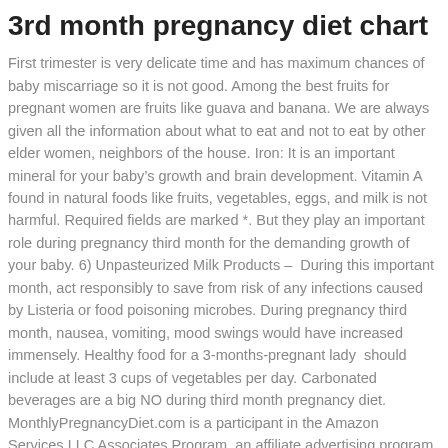3rd month pregnancy diet chart
First trimester is very delicate time and has maximum chances of baby miscarriage so it is not good. Among the best fruits for pregnant women are fruits like guava and banana. We are always given all the information about what to eat and not to eat by other elder women, neighbors of the house. Iron: It is an important mineral for your baby’s growth and brain development. Vitamin A found in natural foods like fruits, vegetables, eggs, and milk is not harmful. Required fields are marked *. But they play an important role during pregnancy third month for the demanding growth of your baby. 6) Unpasteurized Milk Products –  During this important month, act responsibly to save from risk of any infections caused by Listeria or food poisoning microbes. During pregnancy third month, nausea, vomiting, mood swings would have increased immensely. Healthy food for a 3-months-pregnant lady  should include at least 3 cups of vegetables per day. Carbonated beverages are a big NO during third month pregnancy diet. MonthlyPregnancyDiet.com is a participant in the Amazon Services LLC Associates Program, an affiliate advertising program designed